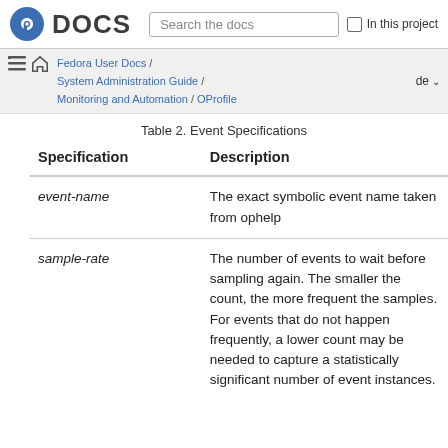DOCS | Search the docs | In this project
Fedora User Docs / System Administration Guide / Monitoring and Automation / OProfile | de
Table 2. Event Specifications
| Specification | Description |
| --- | --- |
| event-name | The exact symbolic event name taken from ophelp |
| sample-rate | The number of events to wait before sampling again. The smaller the count, the more frequent the samples. For events that do not happen frequently, a lower count may be needed to capture a statistically significant number of event instances. |